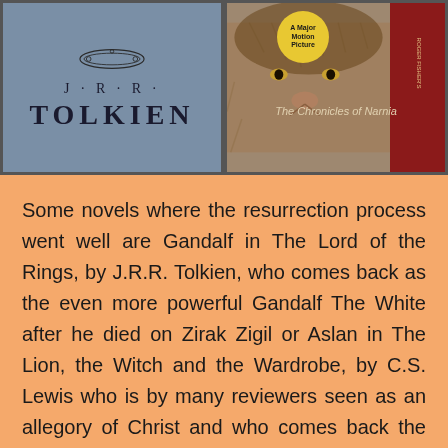[Figure (illustration): Two book covers side by side. Left: The Lord of the Rings by J.R.R. Tolkien on a grey-blue background with decorative ring motif. Right: The Chronicles of Narnia by C.S. Lewis showing a lion's face, a yellow 'A Major Motion Picture' badge, and a dark red spine bar.]
Some novels where the resurrection process went well are Gandalf in The Lord of the Rings, by J.R.R. Tolkien, who comes back as the even more powerful Gandalf The White after he died on Zirak Zigil or Aslan in The Lion, the Witch and the Wardrobe, by C.S. Lewis who is by many reviewers seen as an allegory of Christ and who comes back the morning after the White Witch killed him to conquer his enemy.